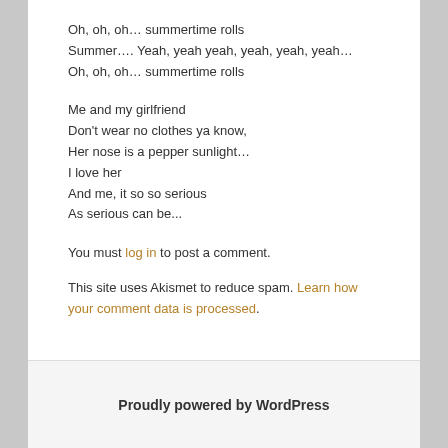Oh, oh, oh… summertime rolls
Summer…. Yeah, yeah yeah, yeah, yeah, yeah…
Oh, oh, oh… summertime rolls
Me and my girlfriend
Don't wear no clothes ya know,
Her nose is a pepper sunlight…
I love her
And me, it so so serious
As serious can be...
You must log in to post a comment.
This site uses Akismet to reduce spam. Learn how your comment data is processed.
Proudly powered by WordPress